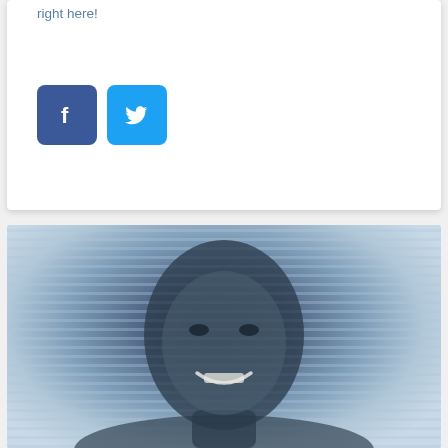right here!
[Figure (illustration): Facebook and Twitter social share buttons: dark blue Facebook button with white 'f' logo, light blue Twitter button with white bird logo]
[Figure (photo): Black and white (blue-tinted) vintage photo of a smiling young Black man, likely a football player, with stadium bleachers visible in the background]